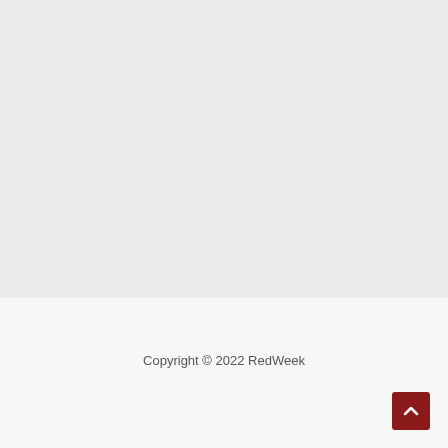[Figure (other): Large light gray background area filling the upper two-thirds of the page]
Copyright © 2022 RedWeek
[Figure (other): Dark red back-to-top button with upward chevron arrow in the bottom-right corner of the footer]